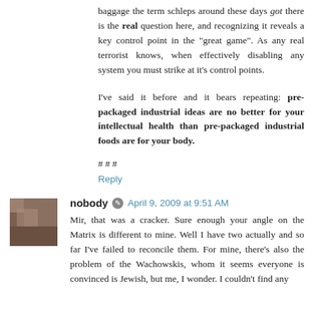baggage the term schleps around these days got there is the real question here, and recognizing it reveals a key control point in the "great game". As any real terrorist knows, when effectively disabling any system you must strike at it's control points.
I've said it before and it bears repeating: pre-packaged industrial ideas are no better for your intellectual health than pre-packaged industrial foods are for your body.
# # #
Reply
nobody  April 9, 2009 at 9:51 AM
Mir, that was a cracker. Sure enough your angle on the Matrix is different to mine. Well I have two actually and so far I've failed to reconcile them. For mine, there's also the problem of the Wachowskis, whom it seems everyone is convinced is Jewish, but me, I wonder. I couldn't find any